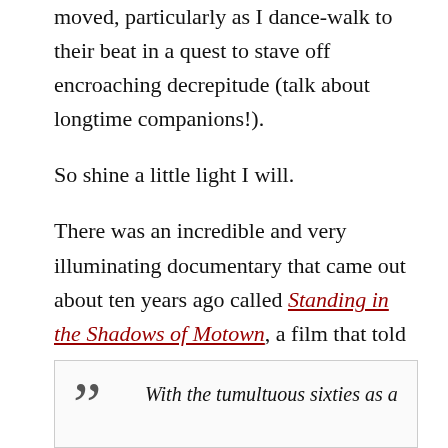moved, particularly as I dance-walk to their beat in a quest to stave off encroaching decrepitude (talk about longtime companions!).
So shine a little light I will.
There was an incredible and very illuminating documentary that came out about ten years ago called Standing in the Shadows of Motown, a film that told the story of the Funk Brothers, that cadre of expert, journeymen musicians who created the iconic and electrifying sound that became known as “the Motown Sound.” This from their website:
With the tumultuous sixties as a